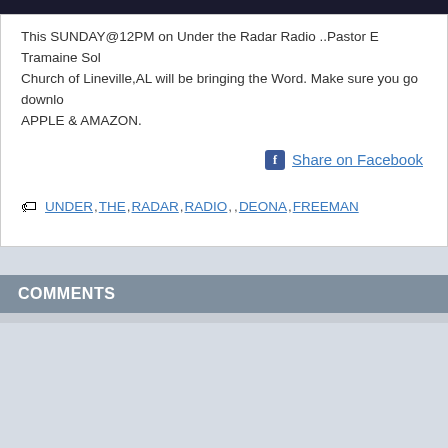[Figure (photo): Dark banner image at top of card, partially visible]
This SUNDAY@12PM on Under the Radar Radio ..Pastor E Tramaine Sol- Church of Lineville,AL will be bringing the Word. Make sure you go downlo- APPLE & AMAZON.
Share on Facebook
UNDER, THE, RADAR, RADIO, , , DEONA, FREEMAN
COMMENTS